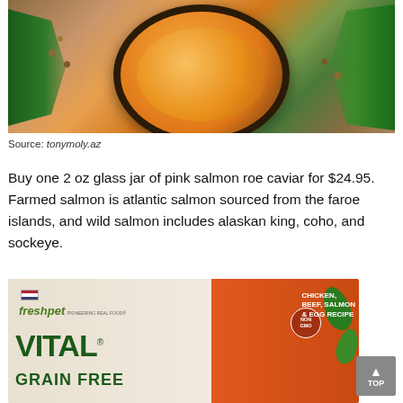[Figure (photo): Product photo of pink salmon roe caviar in an orange bowl/jar, surrounded by herbs and seeds on a wooden surface]
Source: tonymoly.az
Buy one 2 oz glass jar of pink salmon roe caviar for $24.95. Farmed salmon is atlantic salmon sourced from the faroe islands, and wild salmon includes alaskan king, coho, and sockeye.
[Figure (photo): Freshpet VITAL Grain Free Chicken, Beef, Salmon & Egg Recipe dog food package with NON GMO badge and spinach leaves]